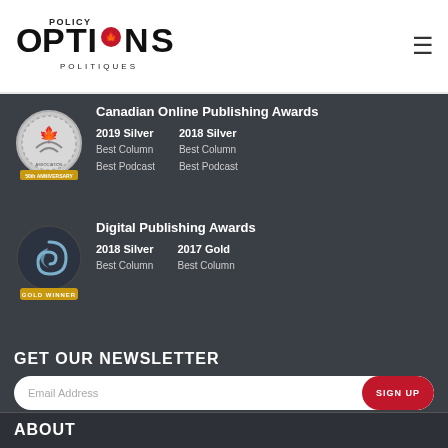[Figure (logo): Policy Options Politiques logo with maple leaf]
Canadian Online Publishing Awards
2019 Silver
Best Column
Best Podcast
2018 Silver
Best Column
Best Podcast
[Figure (logo): Canadian Online Publishing Awards badge - circular silver badge with maple leaf]
Digital Publishing Awards
2018 Silver
Best Column
2017 Gold
Best Column
[Figure (logo): Digital Publishing Awards gold winner badge - dark circular badge with swirl]
GET OUR NEWSLETTER
Email Address
ABOUT